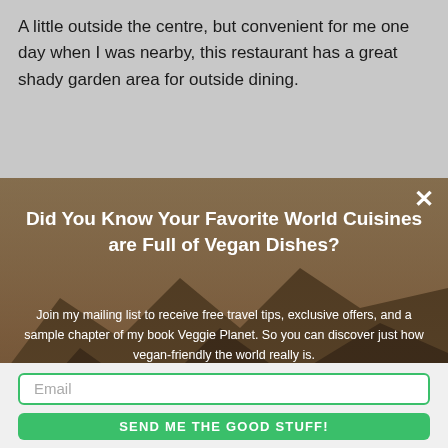A little outside the centre, but convenient for me one day when I was nearby, this restaurant has a great shady garden area for outside dining.
Did You Know Your Favorite World Cuisines are Full of Vegan Dishes?
Join my mailing list to receive free travel tips, exclusive offers, and a sample chapter of my book Veggie Planet. So you can discover just how vegan-friendly the world really is.
I will never spam (that ain't vegan!) and will never pass on your details. You can opt-out at any time. Check out my privacy policy here.